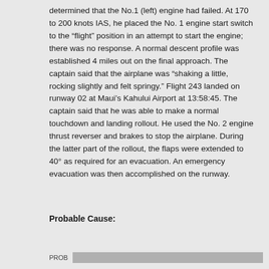determined that the No.1 (left) engine had failed. At 170 to 200 knots IAS, he placed the No. 1 engine start switch to the "flight" position in an attempt to start the engine; there was no response. A normal descent profile was established 4 miles out on the final approach. The captain said that the airplane was "shaking a little, rocking slightly and felt springy." Flight 243 landed on runway 02 at Maui's Kahului Airport at 13:58:45. The captain said that he was able to make a normal touchdown and landing rollout. He used the No. 2 engine thrust reverser and brakes to stop the airplane. During the latter part of the rollout, the flaps were extended to 40° as required for an evacuation. An emergency evacuation was then accomplished on the runway.
Probable Cause:
PROB